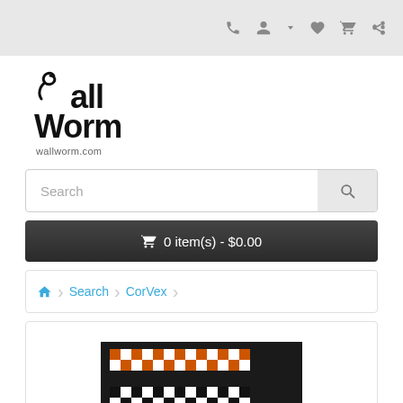Wall Worm store header with icons: phone, account, wishlist, cart, share
[Figure (logo): Wall Worm logo with stylized worm graphic, text 'Wall Worm' and 'wallworm.com']
Search
0 item(s) - $0.00
Search  CorVex
[Figure (photo): Partial product photo of CorVex — checkered orange/black and white/black patterned architectural strips on dark background]